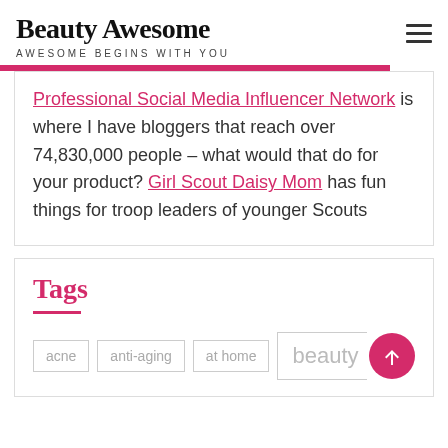Beauty Awesome — AWESOME BEGINS WITH YOU
Professional Social Media Influencer Network is where I have bloggers that reach over 74,830,000 people – what would that do for your product? Girl Scout Daisy Mom has fun things for troop leaders of younger Scouts
Tags
acne
anti-aging
at home
beauty